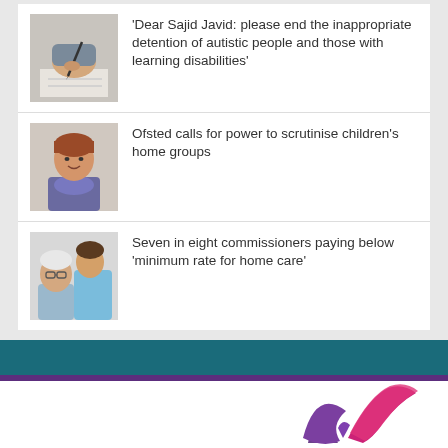[Figure (photo): Person writing with a pen on paper]
'Dear Sajid Javid: please end the inappropriate detention of autistic people and those with learning disabilities'
[Figure (photo): Older woman with short auburn hair smiling]
Ofsted calls for power to scrutinise children's home groups
[Figure (photo): Elderly man with glasses being assisted by a younger carer]
Seven in eight commissioners paying below 'minimum rate for home care'
[Figure (logo): Organisation logo with purple and pink swoosh marks]